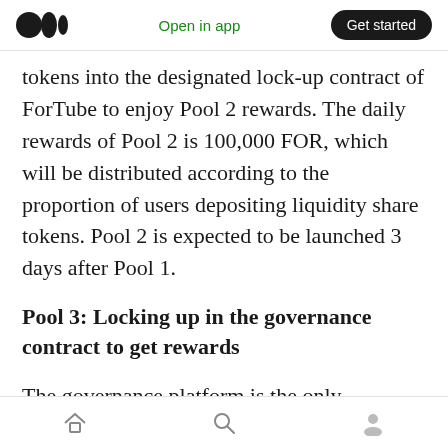Open in app | Get started
tokens into the designated lock-up contract of ForTube to enjoy Pool 2 rewards. The daily rewards of Pool 2 is 100,000 FOR, which will be distributed according to the proportion of users depositing liquidity share tokens. Pool 2 is expected to be launched 3 days after Pool 1.
Pool 3: Locking up in the governance contract to get rewards
The governance platform is the only governance channel for ForTube BSC. All the users can initiate new proposals and vote on other
Home | Search | Profile